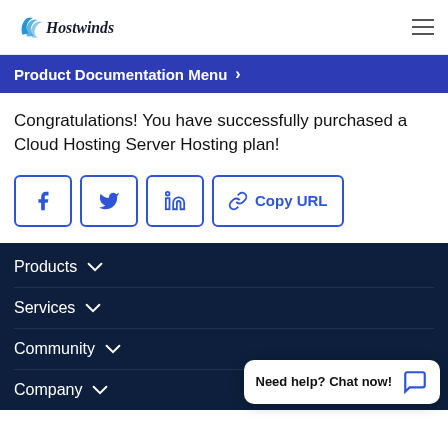Hostwinds
Product Documentation Menu
Congratulations! You have successfully purchased a Cloud Hosting Server Hosting plan!
[Figure (other): Social share buttons: Facebook, Twitter, LinkedIn, Copy URL]
Products
Services
Community
Company
Need help? Chat now!